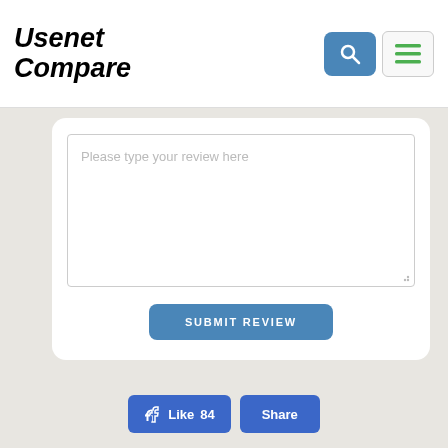[Figure (screenshot): Usenet Compare website header with logo and navigation icons (search and menu buttons)]
Please type your review here
SUBMIT REVIEW
Like 84
Share